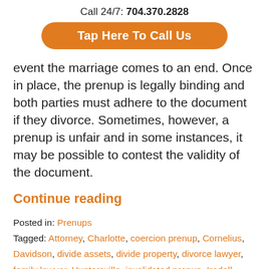Call 24/7: 704.370.2828
[Figure (other): Orange rounded button with text 'Tap Here To Call Us']
event the marriage comes to an end. Once in place, the prenup is legally binding and both parties must adhere to the document if they divorce. Sometimes, however, a prenup is unfair and in some instances, it may be possible to contest the validity of the document.
Continue reading
Posted in: Prenups
Tagged: Attorney, Charlotte, coercion prenup, Cornelius, Davidson, divide assets, divide property, divorce lawyer, family lawyer, Huntersville, invalidated prenup, Iredell County, Lake Norman, Law Firm, Lawyer, legal contract,